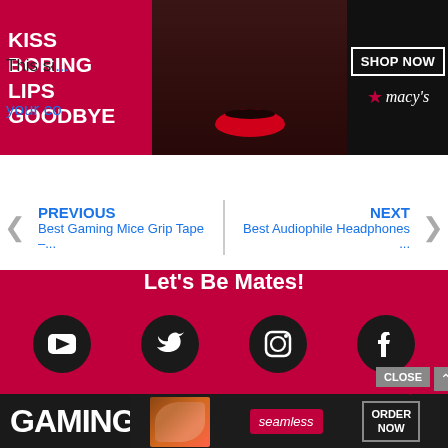[Figure (screenshot): Macy's advertisement banner: dark background with woman's face/red lips, text 'KISS BORING LIPS GOODBYE', 'SHOP NOW' button, Macy's star logo]
This si... ow your co...
PREVIOUS
Best Gaming Mice Grip Tape –...
NEXT
Best Audiophile Headphones ...
Let's Be Mates!
[Figure (illustration): Four social media icons (YouTube, Twitter, Instagram, Facebook) in dark circular buttons on red background]
[Figure (logo): GamingGem logo with white GAMING text, red GEM text, and red/white diamond icon]
[Figure (screenshot): Seamless food delivery ad with pizza image, Seamless logo, ORDER NOW button, and CLOSE button]